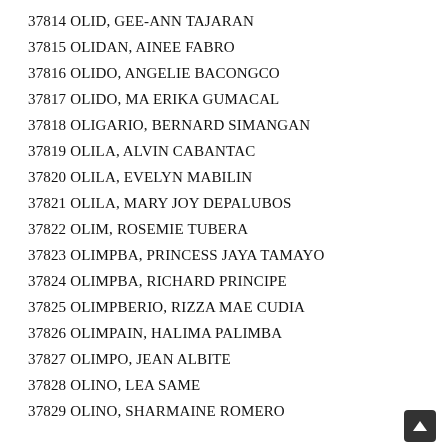37814 OLID, GEE-ANN TAJARAN
37815 OLIDAN, AINEE FABRO
37816 OLIDO, ANGELIE BACONGCO
37817 OLIDO, MA ERIKA GUMACAL
37818 OLIGARIO, BERNARD SIMANGAN
37819 OLILA, ALVIN CABANTAC
37820 OLILA, EVELYN MABILIN
37821 OLILA, MARY JOY DEPALUBOS
37822 OLIM, ROSEMIE TUBERA
37823 OLIMPA, PRINCESS JAYA TAMAYO
37824 OLIMPA, RICHARD PRINCIPE
37825 OLIMPERIO, RIZZA MAE CUDIA
37826 OLIMPAIN, HALIMA PALIMBA
37827 OLIMPO, JEAN ALBITE
37828 OLINO, LEA SAME
37829 OLINO, SHARMAINE ROMERO